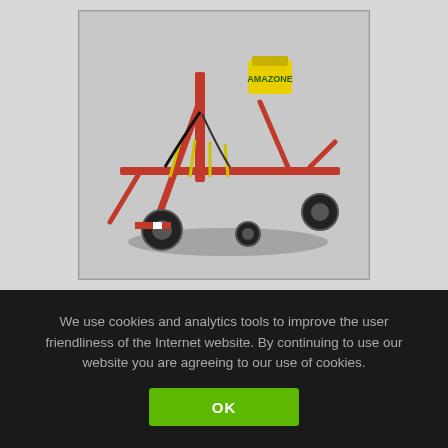[Figure (photo): A red and white agricultural tedder machine (Pöttinger TOP 722) shown on a grey background, 3D rendered view]
Pöttinger TOP 722
By: Konstii.ls, Fabian/Gogobear, HoFFi, Noah1735, Retaurus
★★★★½ 4.7 (190)
We use cookies and analytics tools to improve the user friendliness of the Internet website. By continuing to use our website you are agreeing to our use of cookies.